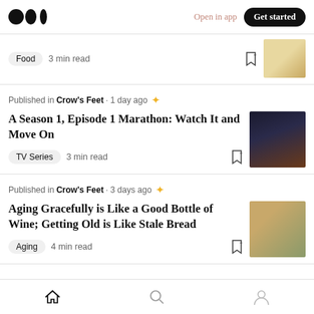Medium logo | Open in app | Get started
Food · 3 min read
Published in Crow's Feet · 1 day ago
A Season 1, Episode 1 Marathon: Watch It and Move On
TV Series · 3 min read
Published in Crow's Feet · 3 days ago
Aging Gracefully is Like a Good Bottle of Wine; Getting Old is Like Stale Bread
Aging · 4 min read
Home | Search | Profile